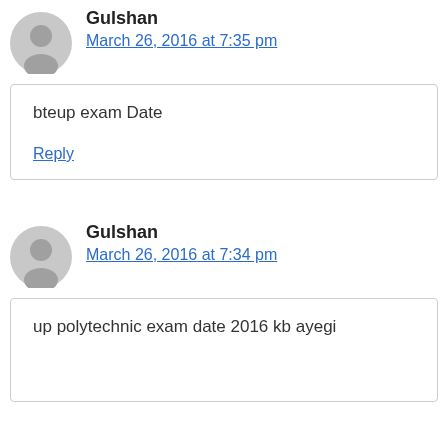Gulshan
March 26, 2016 at 7:35 pm
bteup exam Date
Reply
Gulshan
March 26, 2016 at 7:34 pm
up polytechnic exam date 2016 kb ayegi